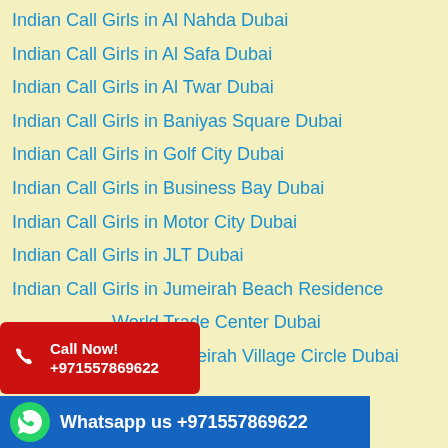Indian Call Girls in Al Nahda Dubai
Indian Call Girls in Al Safa Dubai
Indian Call Girls in Al Twar Dubai
Indian Call Girls in Baniyas Square Dubai
Indian Call Girls in Golf City Dubai
Indian Call Girls in Business Bay Dubai
Indian Call Girls in Motor City Dubai
Indian Call Girls in JLT Dubai
Indian Call Girls in Jumeirah Beach Residence
Indian Call Girls in World Trade Center Dubai
Indian Call Girls in Jumeirah Village Circle Dubai
[Figure (infographic): Call Now! +971557869622 banner with phone icon on red background]
[Figure (infographic): Whatsapp us +971557869622 banner with WhatsApp icon on blue background]